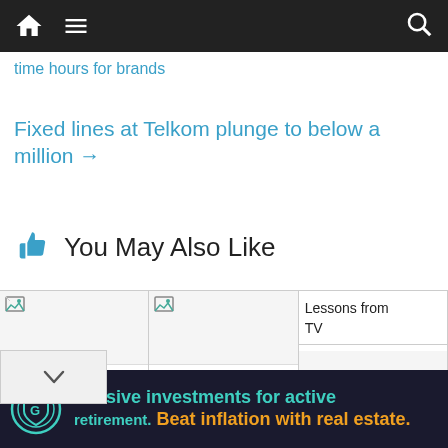Navigation bar with home, menu, and search icons
time hours for brands
Fixed lines at Telkom plunge to below a million →
👍 You May Also Like
[Figure (other): Three content cards in a row. First two show broken image placeholders. Third card shows text 'Lessons from TV'. Below first card is a dropdown chevron. Second card shows '4IR,' text.]
[Figure (other): Advertisement banner: Passive investments for active retirement. Beat inflation with real estate. Features a circular shield logo.]